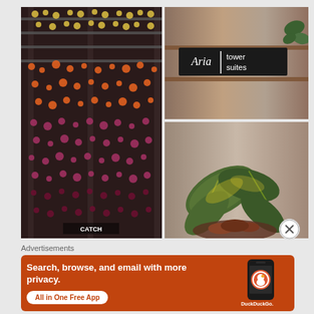[Figure (photo): Interior photo of a decorative floral installation with colorful hanging flowers in orange, red, and pink cascading from a grid ceiling structure, with 'CATCH' visible at the bottom]
[Figure (photo): Aria tower suites sign on a metallic/brushed steel surface with wood frame]
[Figure (photo): Close-up photo of a green tropical plant (croton) with large variegated leaves]
Advertisements
[Figure (infographic): DuckDuckGo advertisement banner with orange background. Text reads: Search, browse, and email with more privacy. All in One Free App. Shows DuckDuckGo logo and app icon on a smartphone mockup.]